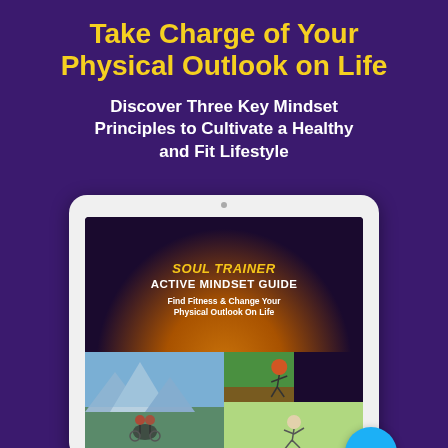Take Charge of Your Physical Outlook on Life
Discover Three Key Mindset Principles to Cultivate a Healthy and Fit Lifestyle
[Figure (illustration): iPad tablet displaying the Soul Trainer Active Mindset Guide book cover. The screen shows the title 'SOUL TRAINER ACTIVE MINDSET GUIDE' with subtitle 'Find Fitness & Change Your Physical Outlook On Life', set against a dark background with a glowing orange arc. Below are three photos: cyclists on a mountain road, a runner on a track, and a person stretching outdoors. A blue chat bubble with three dots appears at the bottom right.]